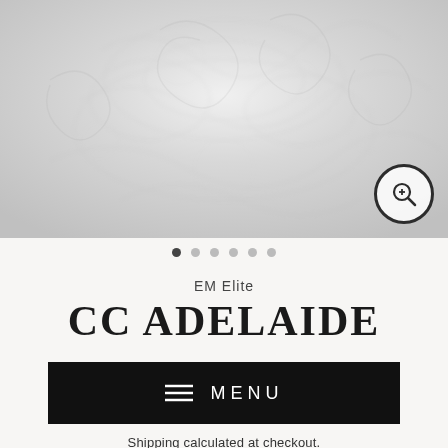[Figure (photo): Close-up photo of white lace/embroidered fabric of a wedding dress, with a magnifying glass (zoom) icon button in the bottom-right corner]
[Figure (infographic): Image carousel navigation dots: one filled dark dot followed by five lighter/empty dots]
EM Elite
CC ADELAIDE
≡  MENU
Shipping calculated at checkout.